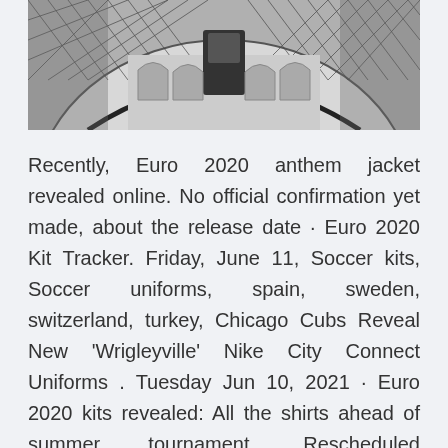[Figure (photo): Black and white architectural photo showing a curved building facade with triangular lattice roof structure viewed from below, with arched windows visible]
Recently, Euro 2020 anthem jacket revealed online. No official confirmation yet made, about the release date · Euro 2020 Kit Tracker. Friday, June 11, Soccer kits, Soccer uniforms, spain, sweden, switzerland, turkey, Chicago Cubs Reveal New 'Wrigleyville' Nike City Connect Uniforms . Tuesday Jun 10, 2021 · Euro 2020 kits revealed: All the shirts ahead of summer tournament. Rescheduled tournament gets underway on June 11 and runs through to Sunday July 11; semi-finals and final due to take place at Sep 01, 2020 · The 2020 Turkey national team home and away kits are available at nike.com and eshop.tff.org September 1; the full